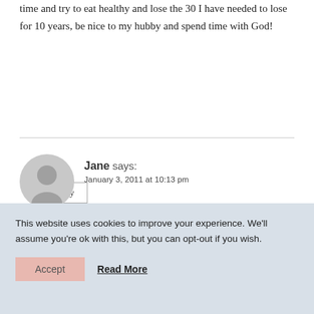time and try to eat healthy and lose the 30 I have needed to lose for 10 years, be nice to my hubby and spend time with God!
Reply
Jane says:
January 3, 2011 at 10:13 pm
To grow closer to the Lord.
This website uses cookies to improve your experience. We'll assume you're ok with this, but you can opt-out if you wish.
Accept
Read More